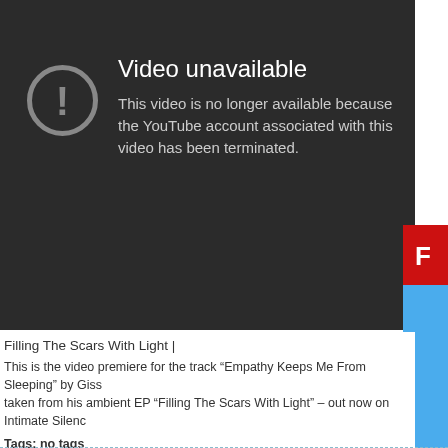[Figure (screenshot): YouTube video unavailable error screen with dark background, exclamation mark icon in a circle, and text saying 'Video unavailable – This video is no longer available because the YouTube account associated with this video has been terminated.' A Flash plugin icon panel appears at the right edge.]
Filling The Scars With Light |
This is the video premiere for the track “Empathy Keeps Me From Sleeping” by Giss taken from his ambient EP “Filling The Scars With Light” – out now on Intimate Silence
Tags: no tags